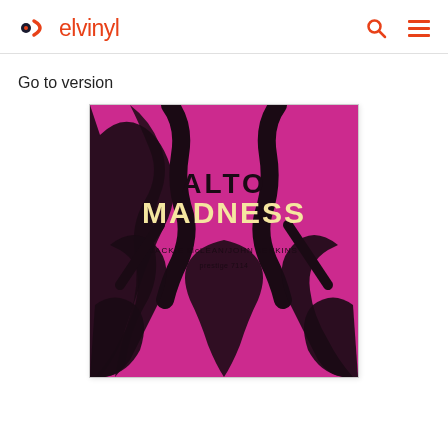elvinyl
Go to version
[Figure (photo): Album cover for 'Alto Madness' by Jackie McLean / John Jenkins on Prestige 7114. Magenta/pink background with dark abstract figures in a mirror-image composition. Text reads 'ALTO MADNESS' in large black and cream letters, 'JACKIE McLEAN/JOHN JENKINS' and 'prestige 7114' in smaller text.]